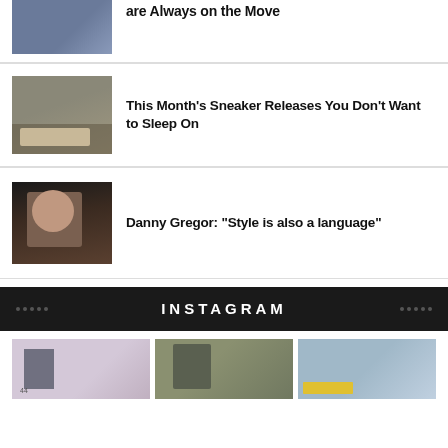[Figure (photo): Basketball player holding a basketball, partial view - cropped at top]
are Always on the Move
[Figure (photo): Close-up of sneakers/shoes on pavement]
This Month’s Sneaker Releases You Don’t Want to Sleep On
[Figure (photo): Man with sunglasses in a brown jacket, street style portrait]
Danny Gregor: “Style is also a language”
INSTAGRAM
[Figure (photo): Instagram photo 1 - street scene with signage]
[Figure (photo): Instagram photo 2 - person with green cap]
[Figure (photo): Instagram photo 3 - outdoor scene]